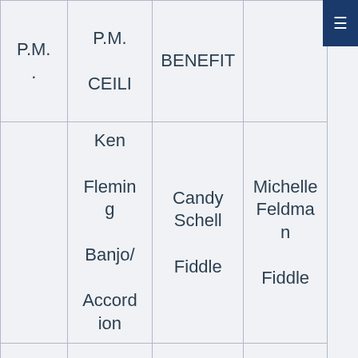|  | P.M. | BENEFIT |  |
| --- | --- | --- | --- |
| P.M.
. | CEILI |  |  |
|  | Ken Fleming
Banjo/Accordion | Candy Schell
Fiddle | Michelle Feldman
Fiddle |
| NO | Rick | Toar | Sarah |